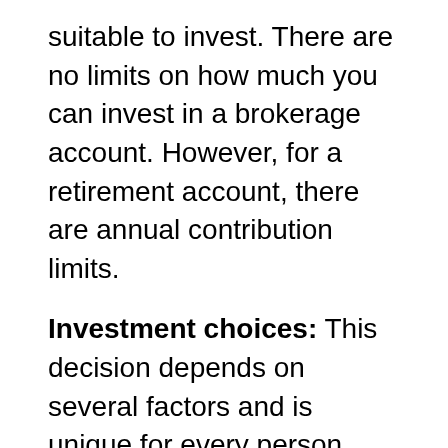suitable to invest. There are no limits on how much you can invest in a brokerage account. However, for a retirement account, there are annual contribution limits.
Investment choices: This decision depends on several factors and is unique for every person based on your risk tolerance, time horizon, goals, etc. It is essential to educate yourself before blindly choosing investments from the many options ranging from the stocks of individual companies, mutual funds, ETFs, and various types of bonds.
It has been noted from the research...